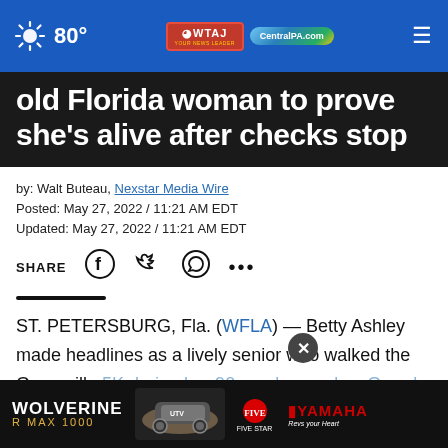80° WTAJ CentralPA.com
old Florida woman to prove she's alive after checks stop
by: Walt Buteau, Nexstar Media Wire
Posted: May 27, 2022 / 11:21 AM EDT
Updated: May 27, 2022 / 11:21 AM EDT
SHARE [social icons]
ST. PETERSBURG, Fla. (WFLA) — Betty Ashley made headlines as a lively senior who walked the Gasparilla 5K during her 90s and served as Grand Marshal this year a...